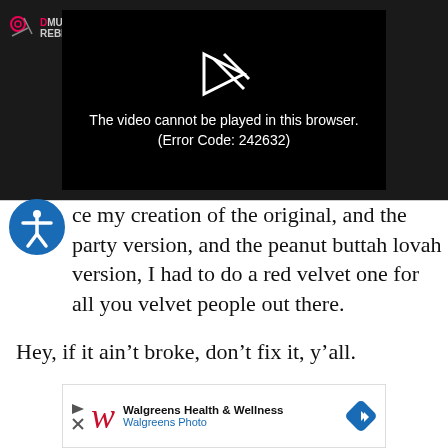[Figure (screenshot): Video player showing error message: 'The video cannot be played in this browser. (Error Code: 242632)' with a music rebel logo in top left corner. Black player area with white broken video icon and white text.]
ce my creation of the original, and the party version, and the peanut buttah lovah version, I had to do a red velvet one for all you velvet people out there.
Hey, if it ain't broke, don't fix it, y'all.
[Figure (screenshot): Walgreens Health & Wellness advertisement with Walgreens Photo text and a blue diamond arrow icon]